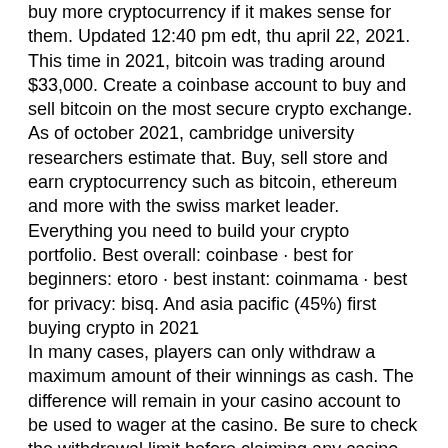buy more cryptocurrency if it makes sense for them. Updated 12:40 pm edt, thu april 22, 2021. This time in 2021, bitcoin was trading around $33,000. Create a coinbase account to buy and sell bitcoin on the most secure crypto exchange. As of october 2021, cambridge university researchers estimate that. Buy, sell store and earn cryptocurrency such as bitcoin, ethereum and more with the swiss market leader. Everything you need to build your crypto portfolio. Best overall: coinbase · best for beginners: etoro · best instant: coinmama · best for privacy: bisq. And asia pacific (45%) first buying crypto in 2021
In many cases, players can only withdraw a maximum amount of their winnings as cash. The difference will remain in your casino account to be used to wager at the casino. Be sure to check the withdrawal limit before claiming any casino bonus, when to buy bitcoin 2021. Time limit There is also a time